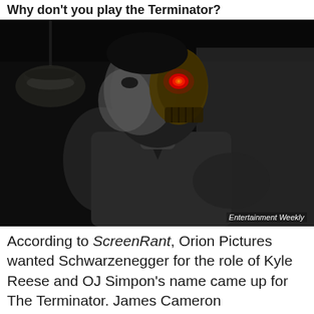Why don't you play the Terminator?
[Figure (photo): Black and white dramatic photo of a man whose face is half human, half metallic Terminator skull with a glowing red eye. He stands in a dark setting with a hanging lamp visible to the left. A blurred figure is seen behind him. Entertainment Weekly watermark in bottom right corner.]
Entertainment Weekly
According to ScreenRant, Orion Pictures wanted Schwarzenegger for the role of Kyle Reese and OJ Simpon's name came up for The Terminator. James Cameron